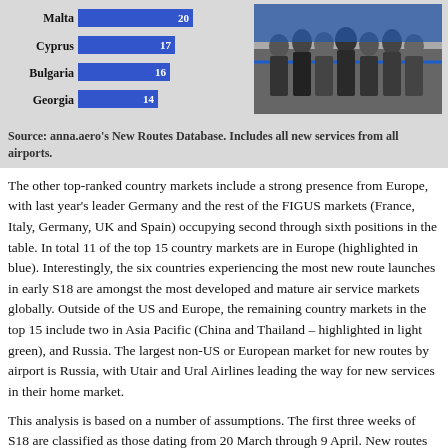[Figure (bar-chart): Top country markets partial bar chart (bottom portion visible)]
[Figure (photo): Group of people at a ribbon-cutting ceremony at an airport, posed in front of a blue ribbon]
Source: anna.aero's New Routes Database. Includes all new services from all airports.
The other top-ranked country markets include a strong presence from Europe, with last year's leader Germany and the rest of the FIGUS markets (France, Italy, Germany, UK and Spain) occupying second through sixth positions in the table. In total 11 of the top 15 country markets are in Europe (highlighted in blue). Interestingly, the six countries experiencing the most new route launches in early S18 are amongst the most developed and mature air service markets globally. Outside of the US and Europe, the remaining country markets in the top 15 include two in Asia Pacific (China and Thailand – highlighted in light green), and Russia. The largest non-US or European market for new routes by airport is Russia, with Utair and Ural Airlines leading the way for new services in their home market.
This analysis is based on a number of assumptions. The first three weeks of S18 are classified as those dating from 20 March through 9 April. New routes refer to services that were not previously served by the launch carrier, rather than entirely new airport pairs. Clearly in some cases these assessments will be the most accurate in some cases.